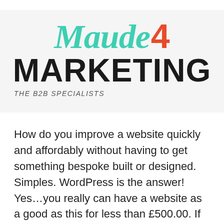[Figure (logo): Maude 4 Marketing logo — 'Maude' in teal italic script, '4' in orange bold, 'MARKETING' in large black bold sans-serif, tagline 'THE B2B SPECIALISTS' in small italic grey caps, all on a light grey background banner.]
How do you improve a website quickly and affordably without having to get something bespoke built or designed. Simples. WordPress is the answer! Yes…you really can have a website as a good as this for less than £500.00. If you